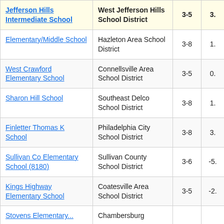| School | District | Grades | Score |
| --- | --- | --- | --- |
| Jefferson Hills Intermediate School | West Jefferson Hills School District | 3-5 | 3. |
| Elementary/Middle School | Hazleton Area School District | 3-8 | 1. |
| West Crawford Elementary School | Connellsville Area School District | 3-5 | 0. |
| Sharon Hill School | Southeast Delco School District | 3-8 | 1. |
| Finletter Thomas K School | Philadelphia City School District | 3-8 | 3. |
| Sullivan Co Elementary School (8180) | Sullivan County School District | 3-6 | -5. |
| Kings Highway Elementary School | Coatesville Area School District | 3-5 | -2. |
| Stovens Elementary... | Chambersburg |  |  |